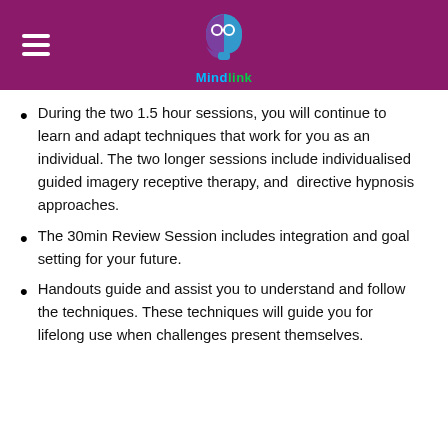[Figure (logo): Mindlink logo with brain/head icon in blue and purple on dark magenta header bar, with hamburger menu icon on left]
During the two 1.5 hour sessions, you will continue to learn and adapt techniques that work for you as an individual. The two longer sessions include individualised guided imagery receptive therapy, and directive hypnosis approaches.
The 30min Review Session includes integration and goal setting for your future.
Handouts guide and assist you to understand and follow the techniques. These techniques will guide you for lifelong use when challenges present themselves.